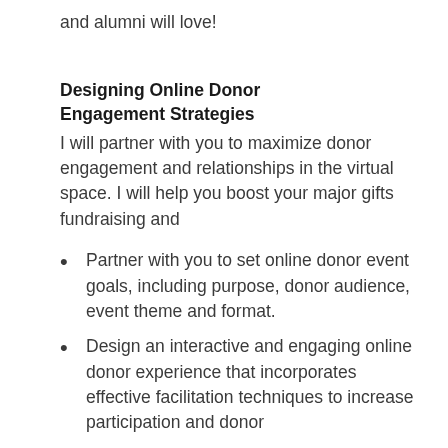and alumni will love!
Designing Online Donor Engagement Strategies
I will partner with you to maximize donor engagement and relationships in the virtual space. I will help you boost your major gifts fundraising and
Partner with you to set online donor event goals, including purpose, donor audience, event theme and format.
Design an interactive and engaging online donor experience that incorporates effective facilitation techniques to increase participation and donor satisfaction.